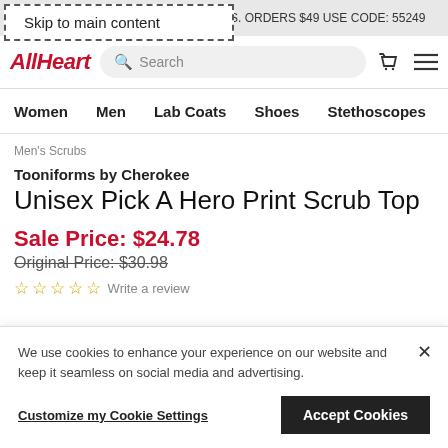Skip to main content
S. ORDERS $49 USE CODE: 55249
[Figure (logo): AllHeart logo in red italic bold text]
Women   Men   Lab Coats   Shoes   Stethoscopes
Men's Scrubs
Tooniforms by Cherokee
Unisex Pick A Hero Print Scrub Top
Sale Price: $24.78
Original Price: $30.98
☆☆☆☆☆ Write a review
We use cookies to enhance your experience on our website and keep it seamless on social media and advertising.
Customize my Cookie Settings
Accept Cookies